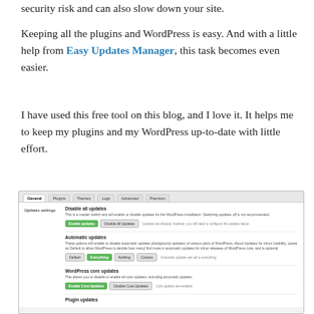security risk and can also slow down your site.
Keeping all the plugins and WordPress is easy. And with a little help from Easy Updates Manager, this task becomes even easier.
I have used this free tool on this blog, and I love it. It helps me to keep my plugins and my WordPress up-to-date with little effort.
[Figure (screenshot): Screenshot of Easy Updates Manager plugin settings page showing General tab with tabs: General, Plugins, Themes, Logs, Advanced, Premium. Sections visible: Updates settings with 'Disable all updates' (Enable Updates / Disable All Updates buttons), 'Automatic updates' (Default / Everything / Nothing / Custom buttons with Everything selected), 'WordPress core updates' (Enable Core Updates / Disable Core Updates buttons), and 'Plugin updates' section header.]